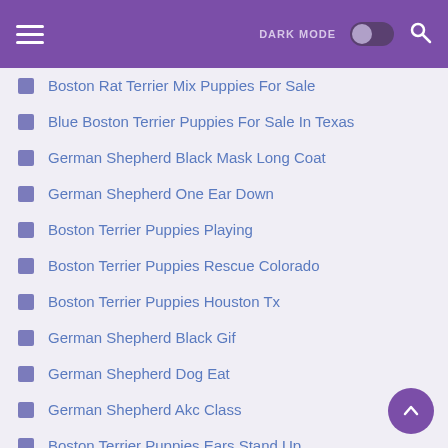DARK MODE [toggle] [search]
Boston Rat Terrier Mix Puppies For Sale
Blue Boston Terrier Puppies For Sale In Texas
German Shepherd Black Mask Long Coat
German Shepherd One Ear Down
Boston Terrier Puppies Playing
Boston Terrier Puppies Rescue Colorado
Boston Terrier Puppies Houston Tx
German Shepherd Black Gif
German Shepherd Dog Eat
German Shepherd Akc Class
Boston Terrier Puppies Ears Stand Up
Boston Terrier Puppies For Adoption In Nj
German Shepherd Puppy Vaccination Schedule